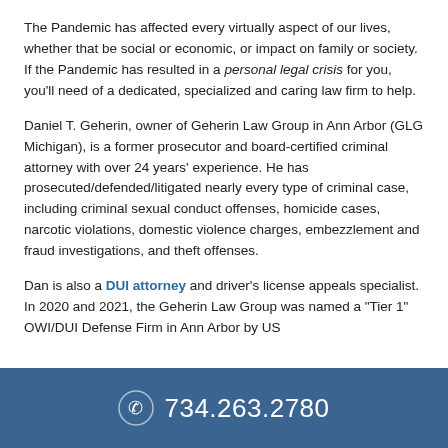The Pandemic has affected every virtually aspect of our lives, whether that be social or economic, or impact on family or society. If the Pandemic has resulted in a personal legal crisis for you, you'll need of a dedicated, specialized and caring law firm to help.
Daniel T. Geherin, owner of Geherin Law Group in Ann Arbor (GLG Michigan), is a former prosecutor and board-certified criminal attorney with over 24 years' experience. He has prosecuted/defended/litigated nearly every type of criminal case, including criminal sexual conduct offenses, homicide cases, narcotic violations, domestic violence charges, embezzlement and fraud investigations, and theft offenses.
Dan is also a DUI attorney and driver's license appeals specialist. In 2020 and 2021, the Geherin Law Group was named a "Tier 1" OWI/DUI Defense Firm in Ann Arbor by US
734.263.2780